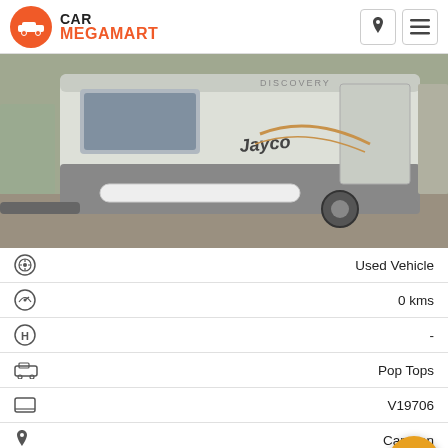[Figure (logo): Car Megamart logo with orange circle containing white car silhouette, and text CAR MEGAMART]
[Figure (photo): Jayco Discovery caravan rear view in a caravan park, white body with grey lower section, white pole/bar attached, on gravel]
| Icon | Value |
| --- | --- |
| steering wheel icon | Used Vehicle |
| speedometer icon | 0 kms |
| H icon | - |
| car icon | Pop Tops |
| laptop/screen icon | V19706 |
| location pin icon | Caravan |
| phone icon | 03 5940 4779 |